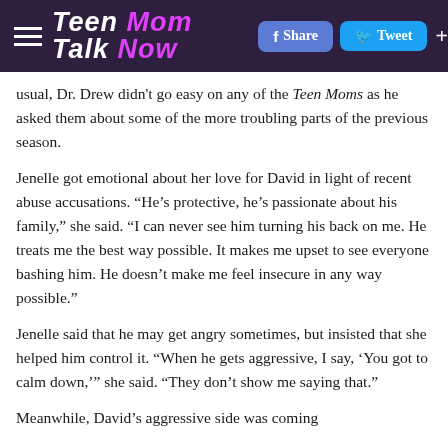Teen Mom Talk Now — Share | Tweet
usual, Dr. Drew didn't go easy on any of the Teen Moms as he asked them about some of the more troubling parts of the previous season.
Jenelle got emotional about her love for David in light of recent abuse accusations. “He’s protective, he’s passionate about his family,” she said. “I can never see him turning his back on me. He treats me the best way possible. It makes me upset to see everyone bashing him. He doesn’t make me feel insecure in any way possible.”
Jenelle said that he may get angry sometimes, but insisted that she helped him control it. “When he gets aggressive, I say, ‘You got to calm down,’” she said. “They don’t show me saying that.”
Meanwhile, David’s aggressive side was coming